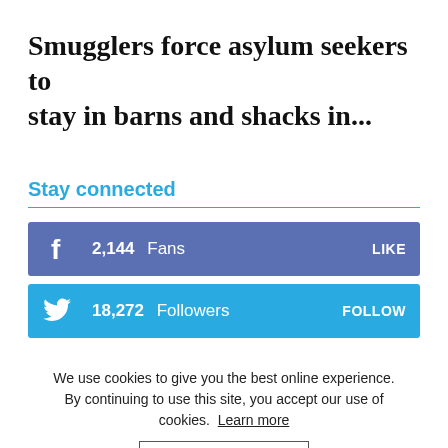Smugglers force asylum seekers to stay in barns and shacks in...
Stay connected
2,144  Fans  LIKE
18,272  Followers  FOLLOW
We use cookies to give you the best online experience. By continuing to use this site, you accept our use of cookies.  Learn more
Accept